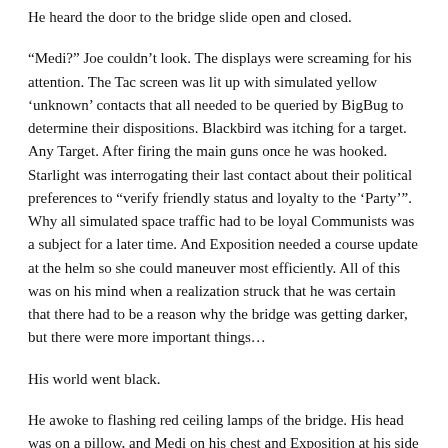He heard the door to the bridge slide open and closed.
“Medi?” Joe couldn’t look. The displays were screaming for his attention. The Tac screen was lit up with simulated yellow ‘unknown’ contacts that all needed to be queried by BigBug to determine their dispositions. Blackbird was itching for a target. Any Target. After firing the main guns once he was hooked. Starlight was interrogating their last contact about their political preferences to “verify friendly status and loyalty to the ‘Party’”. Why all simulated space traffic had to be loyal Communists was a subject for a later time. And Exposition needed a course update at the helm so she could maneuver most efficiently. All of this was on his mind when a realization struck that he was certain that there had to be a reason why the bridge was getting darker, but there were more important things…
His world went black.
He awoke to flashing red ceiling lamps of the bridge. His head was on a pillow, and Medi on his chest and Exposition at his side were staring down at him.